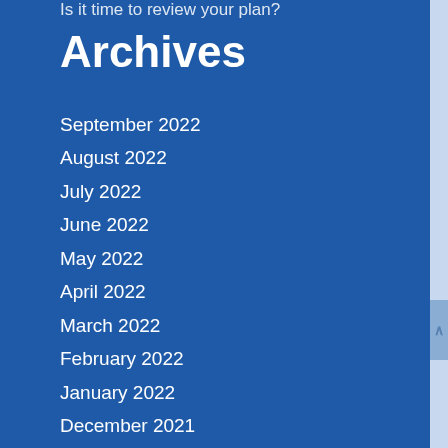Is it time to review your plan?
Archives
September 2022
August 2022
July 2022
June 2022
May 2022
April 2022
March 2022
February 2022
January 2022
December 2021